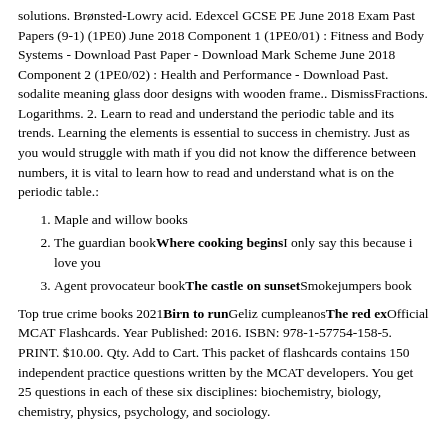solutions. Brønsted-Lowry acid. Edexcel GCSE PE June 2018 Exam Past Papers (9-1) (1PE0) June 2018 Component 1 (1PE0/01) : Fitness and Body Systems - Download Past Paper - Download Mark Scheme June 2018 Component 2 (1PE0/02) : Health and Performance - Download Past. sodalite meaning glass door designs with wooden frame.. DismissFractions. Logarithms. 2. Learn to read and understand the periodic table and its trends. Learning the elements is essential to success in chemistry. Just as you would struggle with math if you did not know the difference between numbers, it is vital to learn how to read and understand what is on the periodic table.:
Maple and willow books
The guardian bookWhere cooking beginsI only say this because i love you
Agent provocateur bookThe castle on sunsetSmokejumpers book
Top true crime books 2021Birn to runGeliz cumpleanosThe red exOfficial MCAT Flashcards. Year Published: 2016. ISBN: 978-1-57754-158-5. PRINT. $10.00. Qty. Add to Cart. This packet of flashcards contains 150 independent practice questions written by the MCAT developers. You get 25 questions in each of these six disciplines: biochemistry, biology, chemistry, physics, psychology, and sociology.